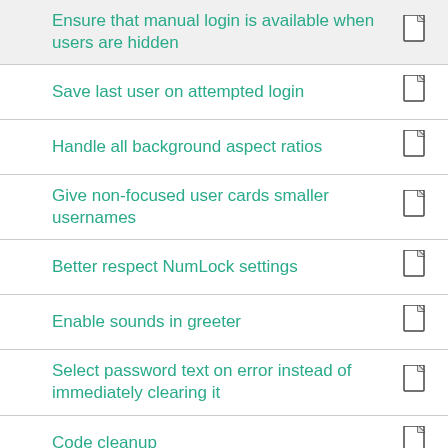Ensure that manual login is available when users are hidden
Save last user on attempted login
Handle all background aspect ratios
Give non-focused user cards smaller usernames
Better respect NumLock settings
Enable sounds in greeter
Select password text on error instead of immediately clearing it
Code cleanup
Extensive overhaul